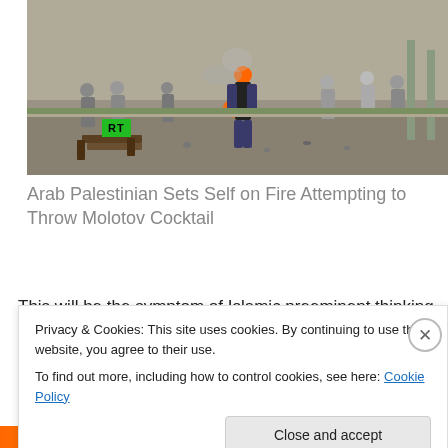[Figure (photo): News video screenshot showing a person on fire during a street confrontation, with crowds of people in the background and debris on the ground. An RT (Russia Today) logo watermark is visible in green in the lower left of the image.]
Arab Palestinian Sets Self on Fire Attempting to Throw Molotov Cocktail
This will be the symptom of Islamic preeminent thinking as
Privacy & Cookies: This site uses cookies. By continuing to use this website, you agree to their use.
To find out more, including how to control cookies, see here: Cookie Policy
Close and accept